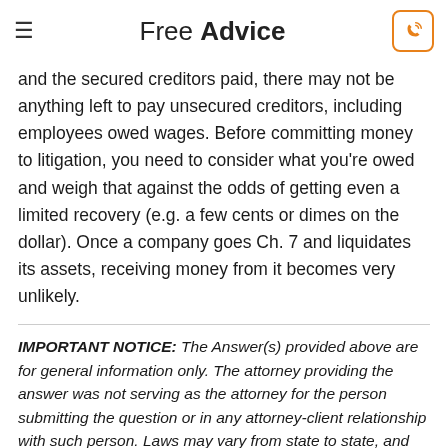Free Advice
and the secured creditors paid, there may not be anything left to pay unsecured creditors, including employees owed wages. Before committing money to litigation, you need to consider what you're owed and weigh that against the odds of getting even a limited recovery (e.g. a few cents or dimes on the dollar). Once a company goes Ch. 7 and liquidates its assets, receiving money from it becomes very unlikely.
IMPORTANT NOTICE: The Answer(s) provided above are for general information only. The attorney providing the answer was not serving as the attorney for the person submitting the question or in any attorney-client relationship with such person. Laws may vary from state to state, and sometimes change. Tiny